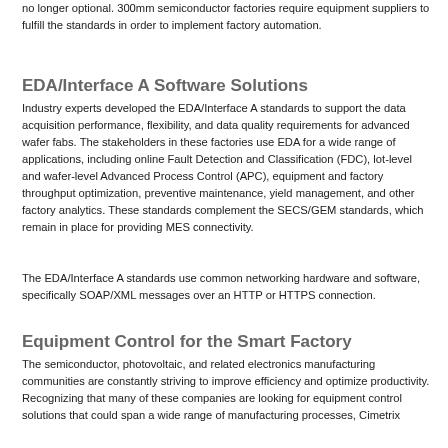no longer optional. 300mm semiconductor factories require equipment suppliers to fulfill the standards in order to implement factory automation.
EDA/Interface A Software Solutions
Industry experts developed the EDA/Interface A standards to support the data acquisition performance, flexibility, and data quality requirements for advanced wafer fabs. The stakeholders in these factories use EDA for a wide range of applications, including online Fault Detection and Classification (FDC), lot-level and wafer-level Advanced Process Control (APC), equipment and factory throughput optimization, preventive maintenance, yield management, and other factory analytics. These standards complement the SECS/GEM standards, which remain in place for providing MES connectivity.
The EDA/Interface A standards use common networking hardware and software, specifically SOAP/XML messages over an HTTP or HTTPS connection.
Equipment Control for the Smart Factory
The semiconductor, photovoltaic, and related electronics manufacturing communities are constantly striving to improve efficiency and optimize productivity. Recognizing that many of these companies are looking for equipment control solutions that could span a wide range of manufacturing processes, Cimetrix